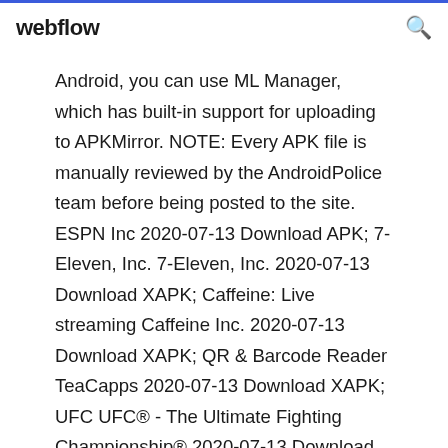webflow
Android, you can use ML Manager, which has built-in support for uploading to APKMirror. NOTE: Every APK file is manually reviewed by the AndroidPolice team before being posted to the site. ESPN Inc 2020-07-13 Download APK; 7-Eleven, Inc. 7-Eleven, Inc. 2020-07-13 Download XAPK; Caffeine: Live streaming Caffeine Inc. 2020-07-13 Download XAPK; QR & Barcode Reader TeaCapps 2020-07-13 Download XAPK; UFC UFC® - The Ultimate Fighting Championship® 2020-07-13 Download APK; PlantSnap - Identify Plants, Flowers, Trees & More PlantSnap InShot v1.632.265 Mod APK [Pro] PicsArt Photo Editor v13.7.4 Mod APK; Viki v5.5.2 Mod APK [Korean Dramas, Movies &